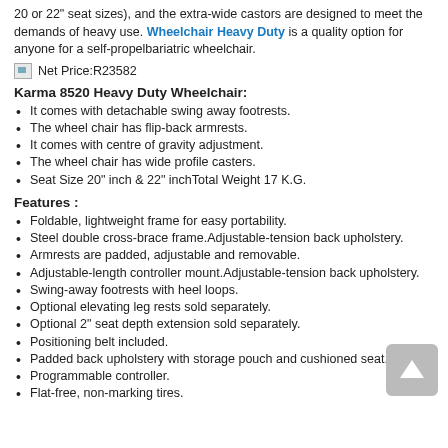20 or 22" seat sizes), and the extra-wide castors are designed to meet the demands of heavy use. Wheelchair Heavy Duty is a quality option for anyone for a self-propel bariatric wheelchair.
Net Price:R23582
Karma 8520 Heavy Duty Wheelchair:
It comes with detachable swing away footrests.
The wheel chair has flip-back armrests.
It comes with centre of gravity adjustment.
The wheel chair has wide profile casters.
Seat Size 20" inch & 22" inchTotal Weight 17 K.G.
Features :
Foldable, lightweight frame for easy portability.
Steel double cross-brace frame.Adjustable-tension back upholstery.
Armrests are padded, adjustable and removable.
Adjustable-length controller mount.Adjustable-tension back upholstery.
Swing-away footrests with heel loops.
Optional elevating leg rests sold separately.
Optional 2" seat depth extension sold separately.
Positioning belt included.
Padded back upholstery with storage pouch and cushioned seat.
Programmable controller.
Flat-free, non-marking tires.